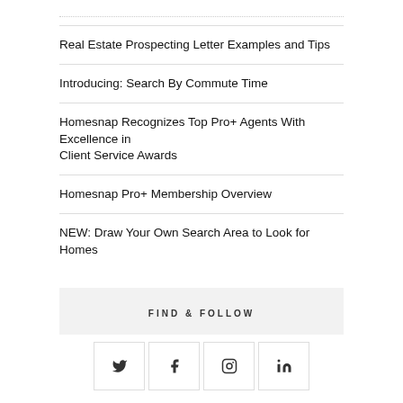Real Estate Prospecting Letter Examples and Tips
Introducing: Search By Commute Time
Homesnap Recognizes Top Pro+ Agents With Excellence in Client Service Awards
Homesnap Pro+ Membership Overview
NEW: Draw Your Own Search Area to Look for Homes
FIND & FOLLOW
[Figure (other): Social media icons: Twitter, Facebook, Instagram, LinkedIn]